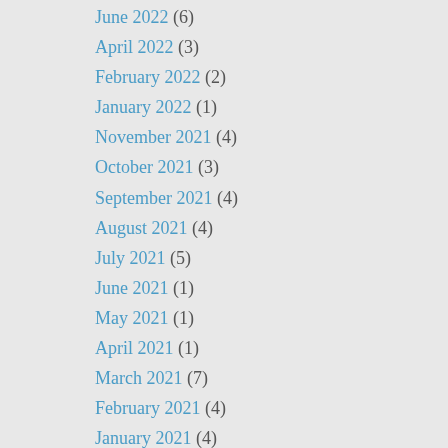June 2022 (6)
April 2022 (3)
February 2022 (2)
January 2022 (1)
November 2021 (4)
October 2021 (3)
September 2021 (4)
August 2021 (4)
July 2021 (5)
June 2021 (1)
May 2021 (1)
April 2021 (1)
March 2021 (7)
February 2021 (4)
January 2021 (4)
December 2020 (7)
November 2020 (6)
October 2020 (4)
September 2020 (5)
August 2020 (3)